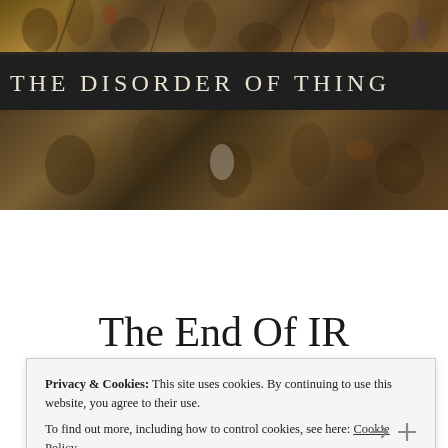[Figure (illustration): Classical painting detail showing crowd of figures — banner header for 'The Disorder of Things' blog]
THE DISORDER OF THINGS
The End Of IR
Privacy & Cookies: This site uses cookies. By continuing to use this website, you agree to their use.
To find out more, including how to control cookies, see here: Cookie Policy
Close and accept